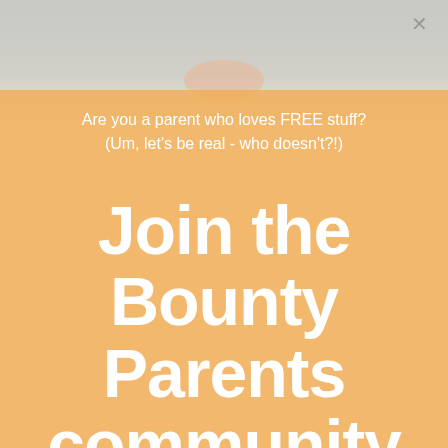[Figure (photo): Background photo of a baby/infant, partially visible at the top of the page, with soft light gray and warm tones]
Are you a parent who loves FREE stuff?
(Um, let's be real - who doesn't?!)
Join the Bounty Parents community and be rewarded!